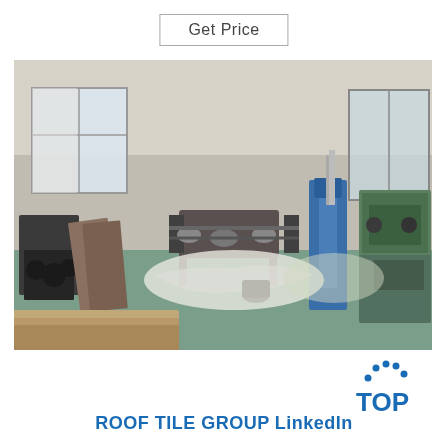Get Price
[Figure (photo): Interior of a manufacturing/warehouse facility with industrial machinery, green-painted floor, and windows. Visible equipment includes rolling machines, a blue vertical press, and green industrial machinery on the right.]
[Figure (logo): TOP logo with blue dots arranged in an arc above the word TOP in blue text]
ROOF TILE GROUP LinkedIn